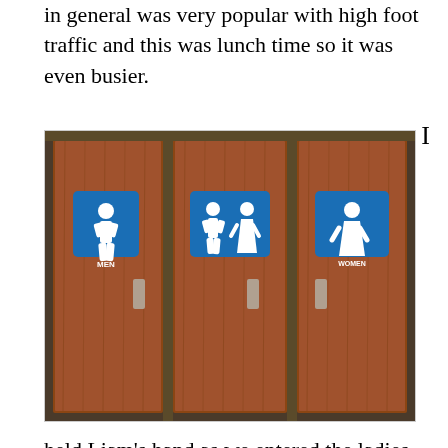in general was very popular with high foot traffic and this was lunch time so it was even busier.
[Figure (photo): Three wooden bathroom doors with blue signs: left door has a MEN sign (male figure), middle door has a combined male/female figure sign, right door has a WOMEN sign (female figure). Each door has a metal pull handle.]
held Liam’s hand as we entered the ladies bathroom and there was a line.  He was excited I had just bought him a balloon shaped like Spiderman so he was completely engaged with that.  I heard a woman say, “Oh you are one of those,” but I didn’t really pay much attention at